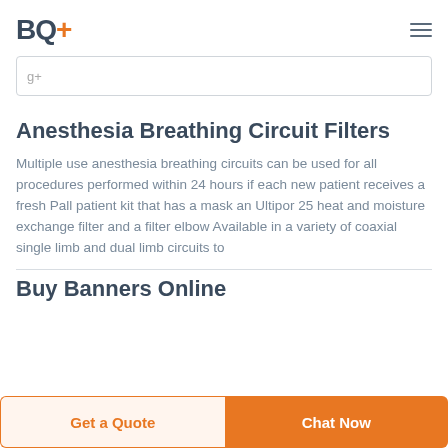BQ+
[Figure (screenshot): Search box partially visible with some placeholder text]
Anesthesia Breathing Circuit Filters
Multiple use anesthesia breathing circuits can be used for all procedures performed within 24 hours if each new patient receives a fresh Pall patient kit that has a mask an Ultipor 25 heat and moisture exchange filter and a filter elbow Available in a variety of coaxial single limb and dual limb circuits to
Buy Banners Online
Get a Quote | Chat Now